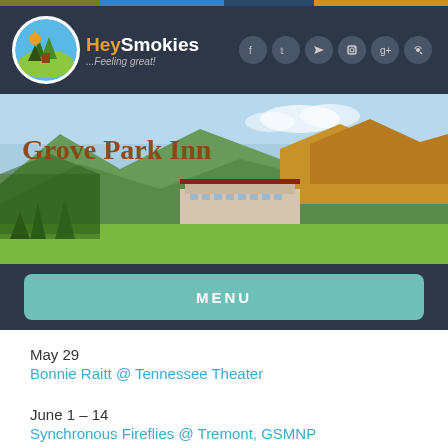[Figure (logo): HeySmokies logo with circular nature icon and social media icons]
[Figure (photo): Grove Park Inn aerial landscape photo showing buildings nestled in forested mountain hillside with autumn colors]
MENU
May 29
Bonnie Raitt @ Tennessee Theater
June 1 – 14
Synchronous Fireflies @ Tremont, GSMNP
June 3 – 5
Hairspray @ Tennessee Theater